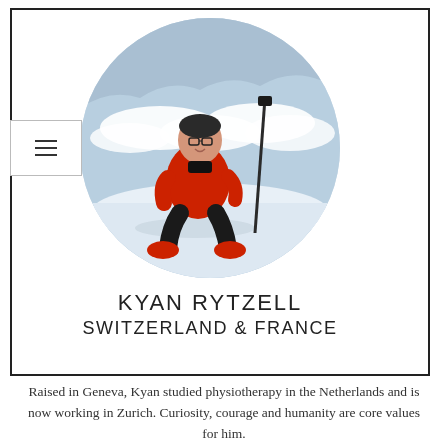[Figure (photo): Circular portrait photo of Kyan Rytzell sitting on a snowy mountain summit wearing a red jacket and glasses, with ski poles beside him and clouds/mountains visible in the background.]
KYAN RYTZELL
SWITZERLAND & FRANCE
Raised in Geneva, Kyan studied physiotherapy in the Netherlands and is now working in Zurich. Curiosity, courage and humanity are core values for him.